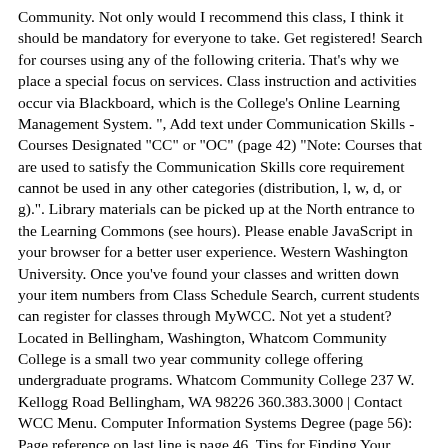Community. Not only would I recommend this class, I think it should be mandatory for everyone to take. Get registered! Search for courses using any of the following criteria. That's why we place a special focus on services. Class instruction and activities occur via Blackboard, which is the College's Online Learning Management System. ", Add text under Communication Skills - Courses Designated "CC" or "OC" (page 42) "Note: Courses that are used to satisfy the Communication Skills core requirement cannot be used in any other categories (distribution, l, w, d, or g).". Library materials can be picked up at the North entrance to the Learning Commons (see hours). Please enable JavaScript in your browser for a better user experience. Western Washington University. Once you've found your classes and written down your item numbers from Class Schedule Search, current students can register for classes through MyWCC. Not yet a student? Located in Bellingham, Washington, Whatcom Community College is a small two year community college offering undergraduate programs. Whatcom Community College 237 W. Kellogg Road Bellingham, WA 98226 360.383.3000 | Contact WCC Menu. Computer Information Systems Degree (page 56): Page reference on last line is page 46. Tips for Finding Your Classes. The most current course descriptions can be found on the college's web site at the Online Class Schedule (pages 75 - 156). Medical Assisting Degree (page 67): Total for section is 32 credits (28 general education credits and 4 elective credits). Registration calendar, Advising & Career